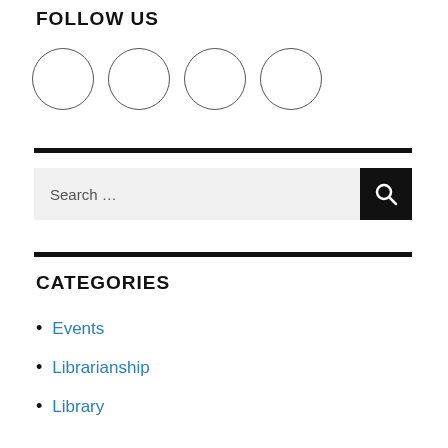FOLLOW US
[Figure (illustration): Four empty social media icon circles in a row]
Search ...
CATEGORIES
Events
Librarianship
Library